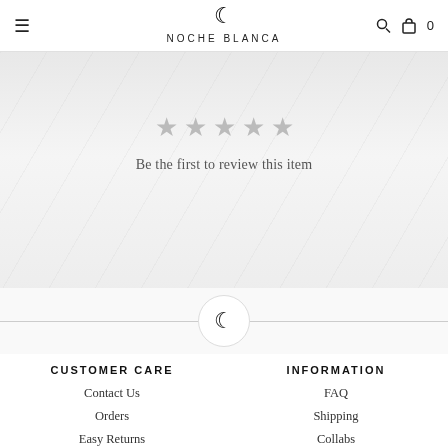≡  🌙  NOCHE BLANCA  🔍 🛍 0
[Figure (other): Five empty star rating icons on a textured light grey background]
Be the first to review this item
[Figure (other): Crescent moon icon centered in a white circle with a thin grey border, flanked by horizontal divider lines]
CUSTOMER CARE
INFORMATION
Contact Us
FAQ
Orders
Shipping
Easy Returns
Collabs
Privacy Policy